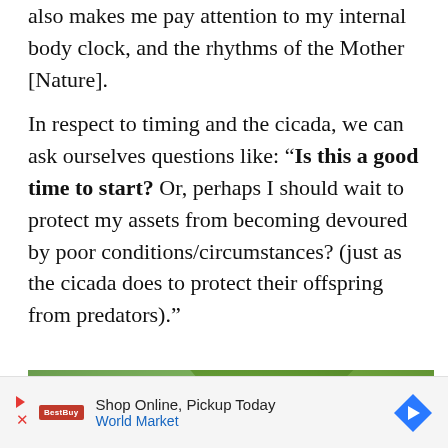also makes me pay attention to my internal body clock, and the rhythms of the Mother [Nature].
In respect to timing and the cicada, we can ask ourselves questions like: “Is this a good time to start? Or, perhaps I should wait to protect my assets from becoming devoured by poor conditions/circumstances? (just as the cicada does to protect their offspring from predators).”
[Figure (photo): Close-up photograph of a cicada on green leaf/plant background, blurred bokeh green background]
Shop Online, Pickup Today World Market